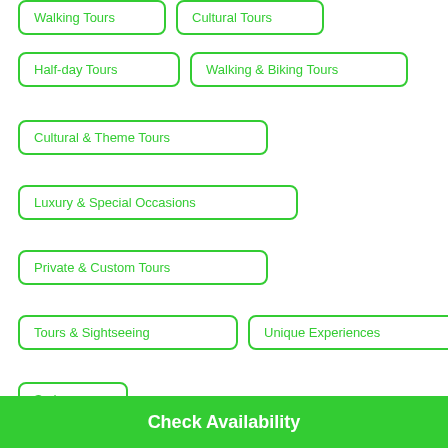Walking Tours
Cultural Tours
Half-day Tours
Walking & Biking Tours
Cultural & Theme Tours
Luxury & Special Occasions
Private & Custom Tours
Tours & Sightseeing
Unique Experiences
Sydney
Unique Experiences – New South Wales
Check Availability